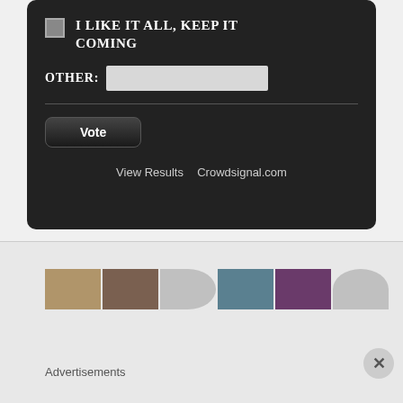I LIKE IT ALL, KEEP IT COMING
OTHER:
Vote
View Results   Crowdsignal.com
[Figure (photo): Row of six thumbnail portrait photos in a light gray advertisement section]
Advertisements